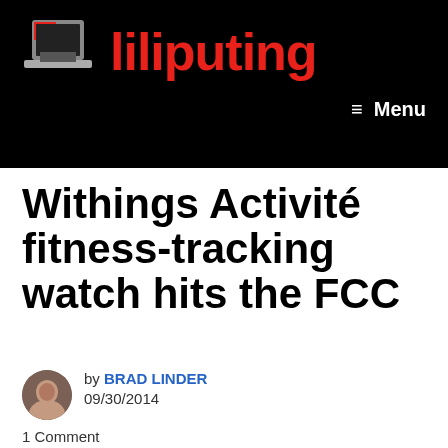Liliputing
Withings Activité fitness-tracking watch hits the FCC
by BRAD LINDER
09/30/2014
1 Comment
The next wearable device from Withings is on the way. The Withings Activité watch showed up at